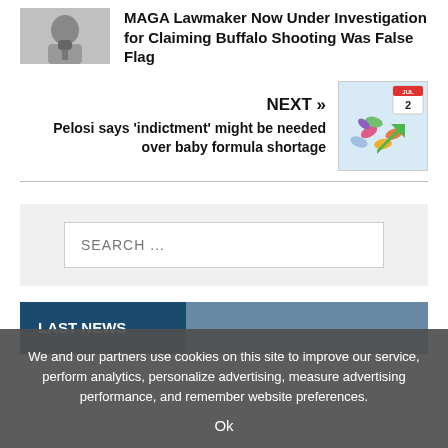[Figure (photo): Thumbnail of a person at a microphone, grayscale]
MAGA Lawmaker Now Under Investigation for Claiming Buffalo Shooting Was False Flag
NEXT »
Pelosi says 'indictment' might be needed over baby formula shortage
[Figure (photo): Thumbnail with colorful pills and a calendar showing JUL 2]
SEARCH ...
LAST NEWS
We and our partners use cookies on this site to improve our service, perform analytics, personalize advertising, measure advertising performance, and remember website preferences.
Ok